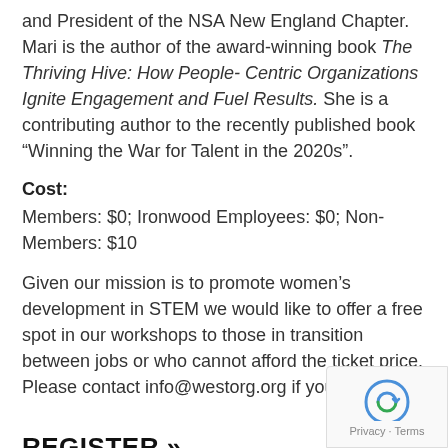and President of the NSA New England Chapter. Mari is the author of the award-winning book The Thriving Hive: How People- Centric Organizations Ignite Engagement and Fuel Results. She is a contributing author to the recently published book “Winning the War for Talent in the 2020s”.
Cost:
Members: $0; Ironwood Employees: $0; Non-Members: $10
Given our mission is to promote women’s development in STEM we would like to offer a free spot in our workshops to those in transition between jobs or who cannot afford the ticket price. Please contact info@westorg.org if you qualify.
REGISTER »